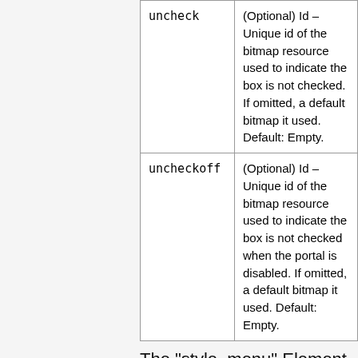| uncheck | (Optional) Id – Unique id of the bitmap resource used to indicate the box is not checked. If omitted, a default bitmap it used. Default: Empty. |
| uncheckoff | (Optional) Id – Unique id of the bitmap resource used to indicate the box is not checked when the portal is disabled. If omitted, a default bitmap it used. Default: Empty. |
The "style_menu" Element
The data-type attribute defines the format of...